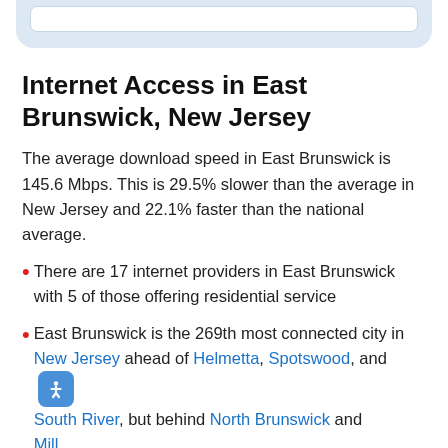Internet Access in East Brunswick, New Jersey
The average download speed in East Brunswick is 145.6 Mbps. This is 29.5% slower than the average in New Jersey and 22.1% faster than the national average.
There are 17 internet providers in East Brunswick with 5 of those offering residential service
East Brunswick is the 269th most connected city in New Jersey ahead of Helmetta, Spotswood, and South River, but behind North Brunswick and Milltown